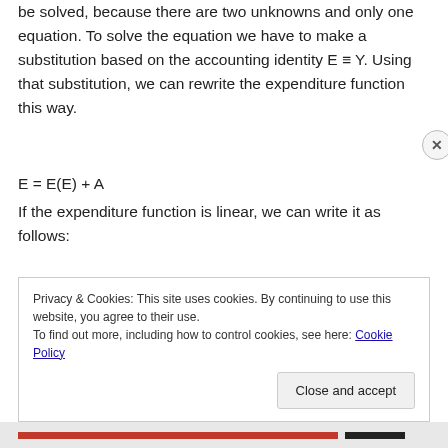be solved, because there are two unknowns and only one equation. To solve the equation we have to make a substitution based on the accounting identity E ≡ Y. Using that substitution, we can rewrite the expenditure function this way.
If the expenditure function is linear, we can write it as follows:
which leads to the following solution:
Privacy & Cookies: This site uses cookies. By continuing to use this website, you agree to their use.
To find out more, including how to control cookies, see here: Cookie Policy